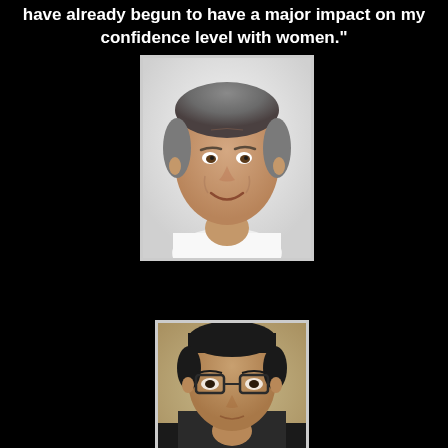have already begun to have a major impact on my confidence level with women."
[Figure (photo): Portrait photo of a middle-aged man with graying hair, smiling, wearing a white t-shirt, against a light background]
[Figure (photo): Portrait photo of an Asian man wearing glasses, against a tan/beige background, partially cropped at bottom of page]